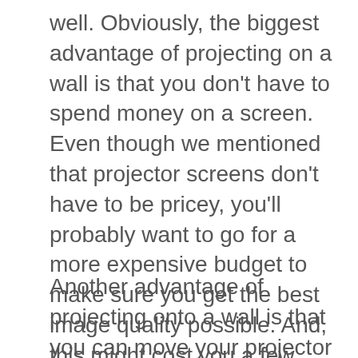well. Obviously, the biggest advantage of projecting on a wall is that you don't have to spend money on a screen. Even though we mentioned that projector screens don't have to be pricey, you'll probably want to go for a more expensive budget to make sure you get the best image quality possible. And, this might cost you a few hundred pounds.
Another advantage of projecting onto a wall is that you can move your projector around. Place it wherever you want, make some minor adjustments, and